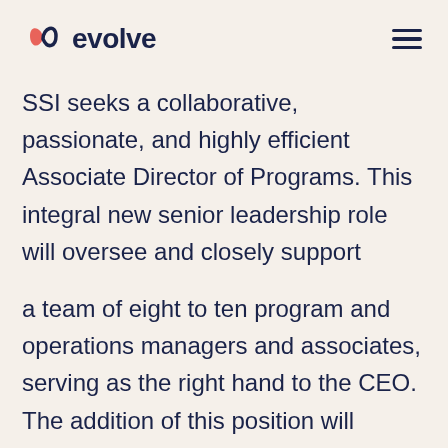evolve
SSI seeks a collaborative, passionate, and highly efficient Associate Director of Programs. This integral new senior leadership role will oversee and closely support
a team of eight to ten program and operations managers and associates, serving as the right hand to the CEO. The addition of this position will enable